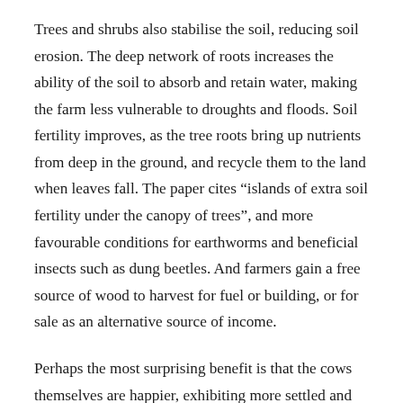Trees and shrubs also stabilise the soil, reducing soil erosion. The deep network of roots increases the ability of the soil to absorb and retain water, making the farm less vulnerable to droughts and floods. Soil fertility improves, as the tree roots bring up nutrients from deep in the ground, and recycle them to the land when leaves fall. The paper cites “islands of extra soil fertility under the canopy of trees”, and more favourable conditions for earthworms and beneficial insects such as dung beetles. And farmers gain a free source of wood to harvest for fuel or building, or for sale as an alternative source of income.
Perhaps the most surprising benefit is that the cows themselves are happier, exhibiting more settled and less aggressive behaviour. It seems that they like having trees to hide behind – it gives them a sense of security. Trees also provide shade in hot weather and shelter from wind and rain. There is even a reduction in diseases from parasites such as